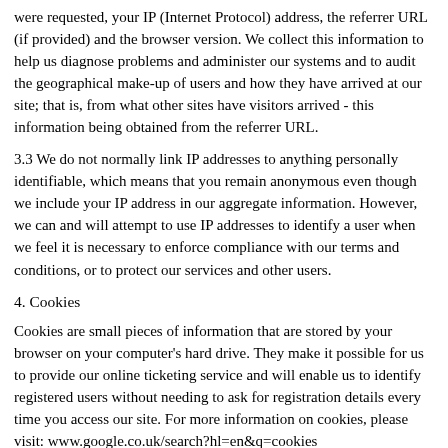were requested, your IP (Internet Protocol) address, the referrer URL (if provided) and the browser version. We collect this information to help us diagnose problems and administer our systems and to audit the geographical make-up of users and how they have arrived at our site; that is, from what other sites have visitors arrived - this information being obtained from the referrer URL.
3.3 We do not normally link IP addresses to anything personally identifiable, which means that you remain anonymous even though we include your IP address in our aggregate information. However, we can and will attempt to use IP addresses to identify a user when we feel it is necessary to enforce compliance with our terms and conditions, or to protect our services and other users.
4. Cookies
Cookies are small pieces of information that are stored by your browser on your computer's hard drive. They make it possible for us to provide our online ticketing service and will enable us to identify registered users without needing to ask for registration details every time you access our site. For more information on cookies, please visit: www.google.co.uk/search?hl=en&q=cookies www.cookiecentral.com/faq/ Please note that we are not responsible for information available on these websites.